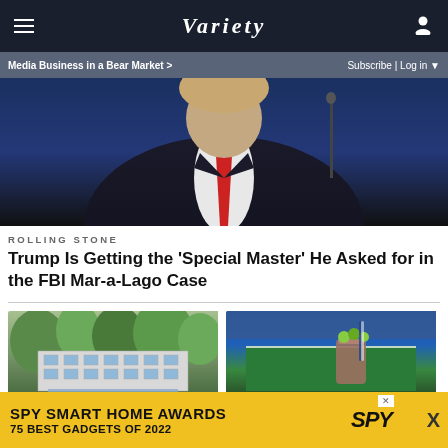Variety
Media Business in a Bear Market > Subscribe | Log in
[Figure (photo): Close-up photo of a man in a dark navy suit with a red tie, head bowed slightly, against a dark background with blue lighting.]
ROLLING STONE
Trump Is Getting the ‘Special Master’ He Asked for in the FBI Mar-a-Lago Case
[Figure (photo): Photo of a modern glass building exterior with a swimming pool in front, surrounded by trees.]
[Figure (photo): Photo of a tennis drink/cocktail with a lime garnish at what appears to be a tennis stadium.]
[Figure (other): Advertisement banner: SPY SMART HOME AWARDS - 75 BEST GADGETS OF 2022 with SPY logo on yellow background.]